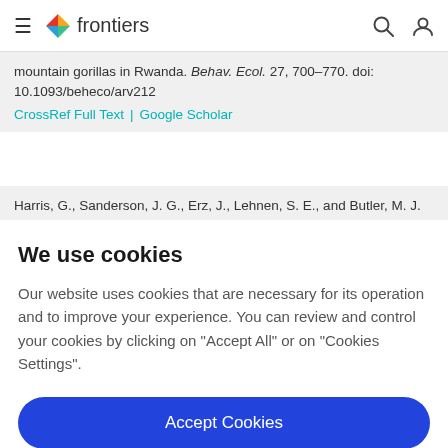frontiers
mountain gorillas in Rwanda. Behav. Ecol. 27, 700–770. doi: 10.1093/beheco/arv212
CrossRef Full Text | Google Scholar
Harris, G., Sanderson, J. G., Erz, J., Lehnen, S. E., and Butler, M. J.
We use cookies
Our website uses cookies that are necessary for its operation and to improve your experience. You can review and control your cookies by clicking on "Accept All" or on "Cookies Settings".
Accept Cookies
Cookies Settings